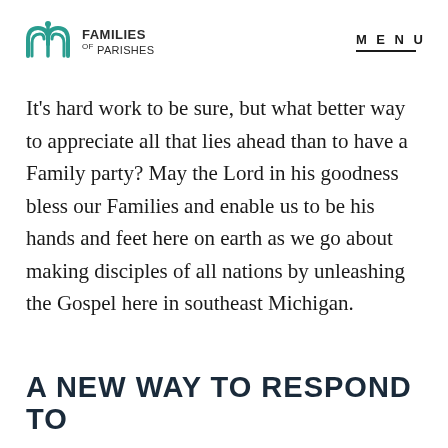FAMILIES OF PARISHES | MENU
It's hard work to be sure, but what better way to appreciate all that lies ahead than to have a Family party? May the Lord in his goodness bless our Families and enable us to be his hands and feet here on earth as we go about making disciples of all nations by unleashing the Gospel here in southeast Michigan.
A NEW WAY TO RESPOND TO